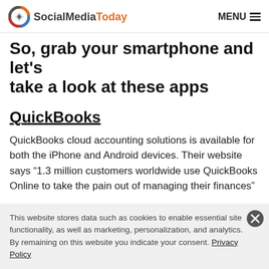SocialMediaToday | MENU
So, grab your smartphone and let's take a look at these apps
QuickBooks
QuickBooks cloud accounting solutions is available for both the iPhone and Android devices. Their website says “1.3 million customers worldwide use QuickBooks Online to take the pain out of managing their finances”
This website stores data such as cookies to enable essential site functionality, as well as marketing, personalization, and analytics. By remaining on this website you indicate your consent. Privacy Policy